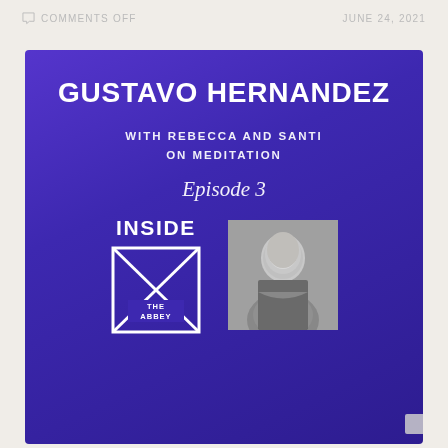COMMENTS OFF   JUNE 24, 2021
[Figure (infographic): Promotional card for Inside The Abbey podcast episode featuring Gustavo Hernandez with Rebecca and Santi on Meditation. Episode 3. Purple gradient background with Inside The Abbey logo and black-and-white headshot of Gustavo Hernandez.]